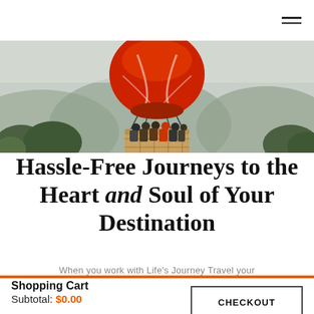[Figure (photo): Hot air balloon with red and white top carrying several passengers in a wicker basket, floating above a forested mountainous landscape with misty hills in the background.]
Hassle-Free Journeys to the Heart and Soul of Your Destination
When you work with Life's Journey Travel your
Shopping Cart
Subtotal: $0.00
CHECKOUT